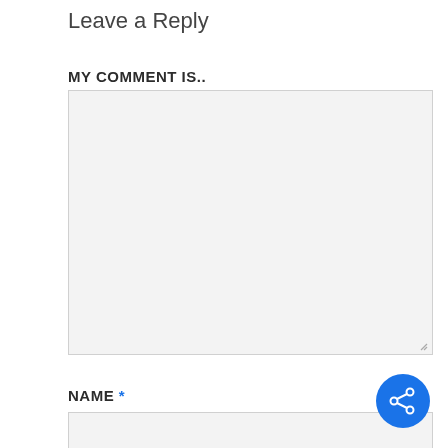Leave a Reply
MY COMMENT IS..
[Figure (screenshot): Empty comment text area input box with light grey background and resize handle in bottom-right corner]
NAME *
[Figure (screenshot): Empty name input field with light grey background]
[Figure (other): Blue circular share button with share icon in bottom-right corner of page]